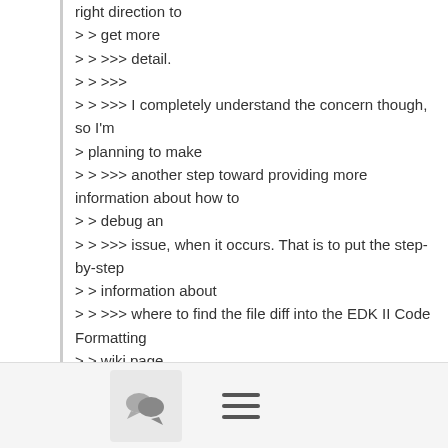right direction to
> > get more
> > >>> detail.
> > >>>
> > >>> I completely understand the concern though, so I'm
> planning to make
> > >>> another step toward providing more information about how to
> > debug an
> > >>> issue, when it occurs. That is to put the step-by-step
> > information about
> > >>> where to find the file diff into the EDK II Code Formatting
> > wiki page
> > >>> and then if a failure occurs, print a link to that section of
> > the wiki
[Figure (other): Footer bar with a comment/chat icon button and a hamburger menu icon]